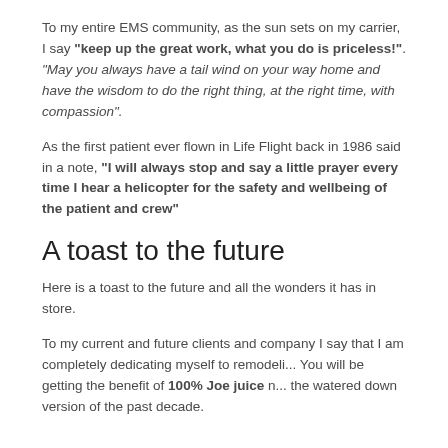To my entire EMS community, as the sun sets on my carrier, I say "keep up the great work, what you do is priceless!". "May you always have a tail wind on your way home and have the wisdom to do the right thing, at the right time, with compassion".
As the first patient ever flown in Life Flight back in 1986 said in a note, "I will always stop and say a little prayer every time I hear a helicopter for the safety and wellbeing of the patient and crew"
A toast to the future
Here is a toast to the future and all the wonders it has in store.
To my current and future clients and company I say that I am completely dedicating myself to remodeli... You will be getting the benefit of 100% Joe juice n... the watered down version of the past decade.